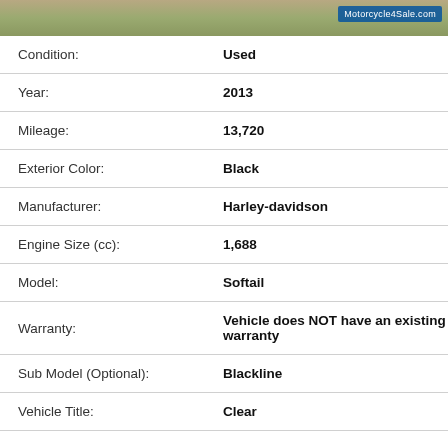[Figure (photo): Partial motorcycle listing photo banner with Motorcycle4Sale.com watermark]
| Field | Value |
| --- | --- |
| Condition: | Used |
| Year: | 2013 |
| Mileage: | 13,720 |
| Exterior Color: | Black |
| Manufacturer: | Harley-davidson |
| Engine Size (cc): | 1,688 |
| Model: | Softail |
| Warranty: | Vehicle does NOT have an existing warranty |
| Sub Model (Optional): | Blackline |
| Vehicle Title: | Clear |